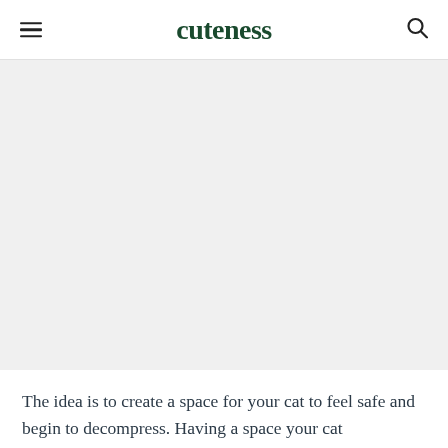cuteness
[Figure (photo): Large image placeholder area with light gray background, no visible image content]
The idea is to create a space for your cat to feel safe and begin to decompress. Having a space your cat